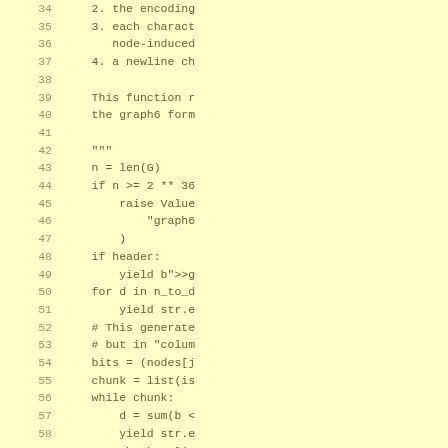[Figure (screenshot): Python source code snippet showing a function that generates graph6 format output. Lines 34-61 are visible, showing list items 2-4 of a docstring, the closing triple-quote, and implementation code including len(G), n>=2**36 check, header yield, for loop with n_to_d, bit operations, chunk processing with while loop, and yield b'\n'.]